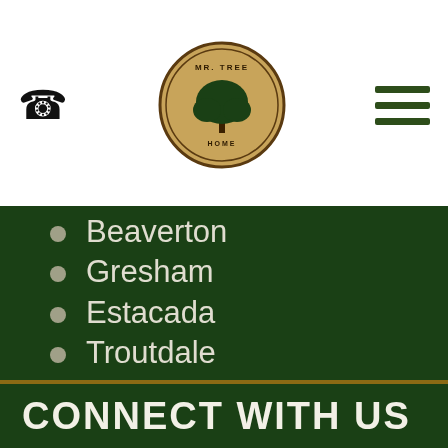Mr. Tree Home — navigation header with phone icon, logo, and hamburger menu
Beaverton
Gresham
Estacada
Troutdale
Clackamas
Tualatin
Wilsonville
Oregon City
Vancouver
Sitemap
CONNECT WITH US